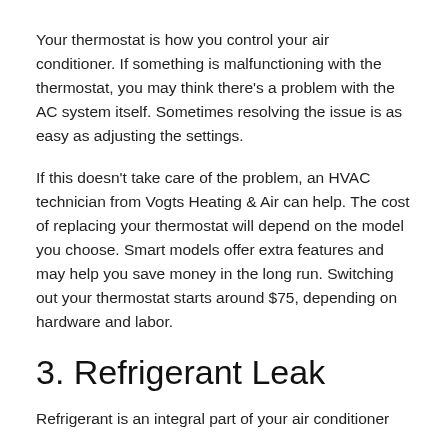Your thermostat is how you control your air conditioner. If something is malfunctioning with the thermostat, you may think there's a problem with the AC system itself. Sometimes resolving the issue is as easy as adjusting the settings.
If this doesn't take care of the problem, an HVAC technician from Vogts Heating & Air can help. The cost of replacing your thermostat will depend on the model you choose. Smart models offer extra features and may help you save money in the long run. Switching out your thermostat starts around $75, depending on hardware and labor.
3. Refrigerant Leak
Refrigerant is an integral part of your air conditioner